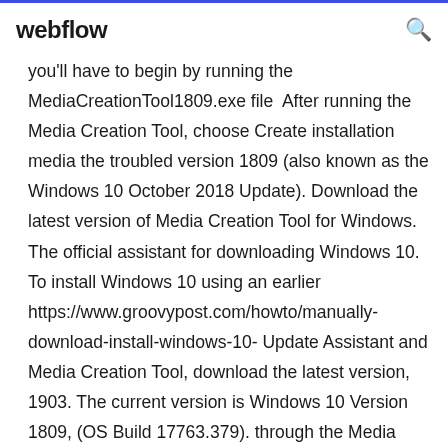webflow
you'll have to begin by running the MediaCreationTool1809.exe file  After running the Media Creation Tool, choose Create installation media the troubled version 1809 (also known as the Windows 10 October 2018 Update). Download the latest version of Media Creation Tool for Windows. The official assistant for downloading Windows 10. To install Windows 10 using an earlier https://www.groovypost.com/howto/manually-download-install-windows-10- Update Assistant and Media Creation Tool, download the latest version, 1903. The current version is Windows 10 Version 1809, (OS Build 17763.379). through the Media Creation Tool. Download is the latest